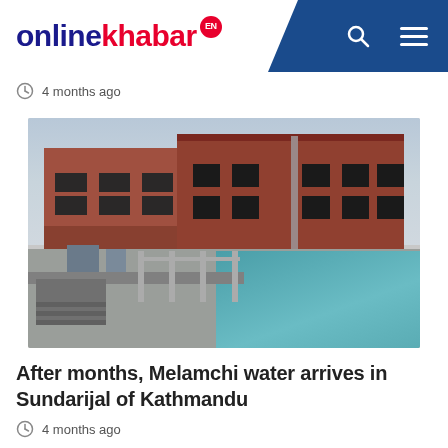onlinekhabar EN
4 months ago
[Figure (photo): Aerial view of Melamchi water treatment plant at Sundarijal, Kathmandu — showing red brick industrial buildings in the background and large open water settling tanks with metal railings and walkways in the foreground]
After months, Melamchi water arrives in Sundarijal of Kathmandu
4 months ago